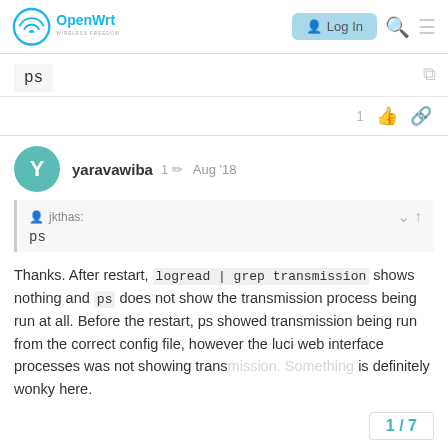OpenWrt – Log In
ps
1 (like) (link)
yaravawiba  1 ✏  Aug '18
jkthas: ps
Thanks. After restart, logread | grep transmission shows nothing and ps does not show the transmission process being run at all. Before the restart, ps showed transmission being run from the correct config file, however the luci web interface processes was not showing transmission. Something is definitely wonky here.
1 / 7